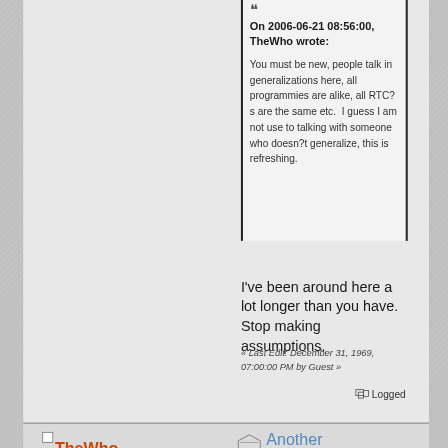On 2006-06-21 08:56:00, TheWho wrote:

You must be new, people talk in generalizations here, all programmies are alike, all RTC?s are the same etc.  I guess I am not use to talking with someone who doesn?t generalize, this is refreshing.
I've been around here a lot longer than you have.  Stop making assumptions.
« Last Edit: December 31, 1969, 07:00:00 PM by Guest »
Logged
TheWho
Another
12 year